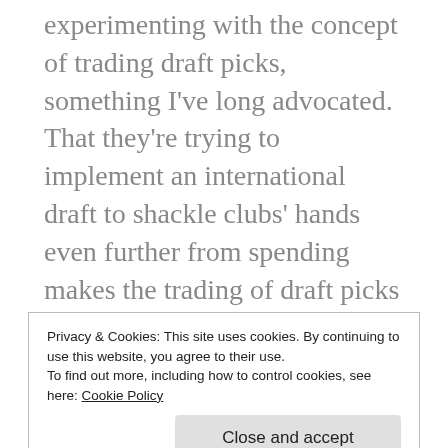experimenting with the concept of trading draft picks, something I've long advocated. That they're trying to implement an international draft to shackle clubs' hands even further from spending makes the trading of draft picks more likely.
With the increased interest in the MLB draft, one of the only ways to turn it into a spectacle that will function as a moon to the NFL draft's sun and NBA's Earth is to allow teams to trade their picks. Because amateur baseball pales in comparison to the attention college football and college basketball receive;
Privacy & Cookies: This site uses cookies. By continuing to use this website, you agree to their use.
To find out more, including how to control cookies, see here: Cookie Policy
Close and accept
minimum percentage of those actually know what